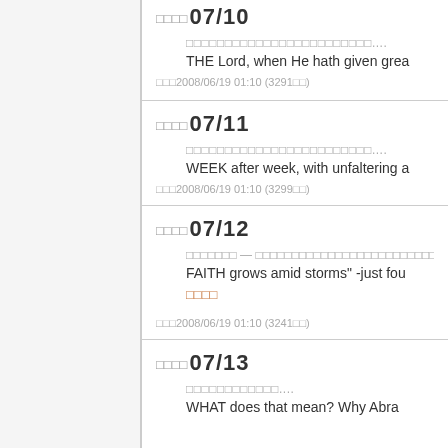□□□□07/10
□□□□□□□□□□□□□□□□□□□□□□□□....
THE Lord, when He hath given grea
□□□2008/06/19 01:10 (3291□□)
□□□□07/11
□□□□□□□□□□□□□□□□□□□□□□□□....
WEEK after week, with unfaltering a
□□□2008/06/19 01:10 (3299□□)
□□□□07/12
□□□□□□□ — □□□□□□□□□□□□□□□□□□□□□□□□□□
FAITH grows amid storms" -just fou
□□□□
□□□2008/06/19 01:10 (3241□□)
□□□□07/13
□□□□□□□□□□□□....
WHAT does that mean? Why Abra